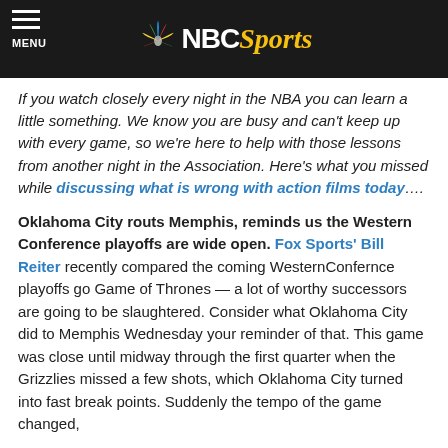NBC Sports
If you watch closely every night in the NBA you can learn a little something. We know you are busy and can't keep up with every game, so we're here to help with those lessons from another night in the Association. Here's what you missed while discussing what is wrong with action films today….
Oklahoma City routs Memphis, reminds us the Western Conference playoffs are wide open. Fox Sports' Bill Reiter recently compared the coming WesternConfernce playoffs go Game of Thrones — a lot of worthy successors are going to be slaughtered. Consider what Oklahoma City did to Memphis Wednesday your reminder of that. This game was close until midway through the first quarter when the Grizzlies missed a few shots, which Oklahoma City turned into fast break points. Suddenly the tempo of the game changed,